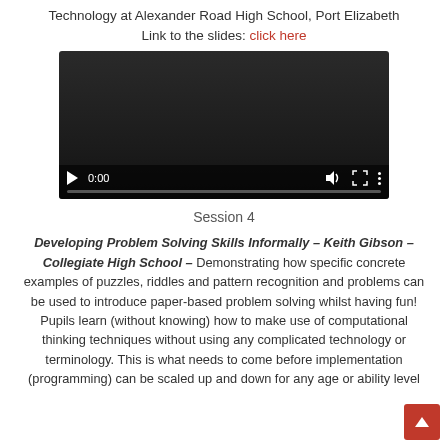Technology at Alexander Road High School, Port Elizabeth
Link to the slides: click here
[Figure (screenshot): Embedded video player showing 0:00 timestamp with play button, volume, fullscreen, and menu controls, with a progress bar at the bottom.]
Session 4
Developing Problem Solving Skills Informally – Keith Gibson – Collegiate High School – Demonstrating how specific concrete examples of puzzles, riddles and pattern recognition and problems can be used to introduce paper-based problem solving whilst having fun! Pupils learn (without knowing) how to make use of computational thinking techniques without using any complicated technology or terminology. This is what needs to come before implementation (programming) can be scaled up and down for any age or ability level